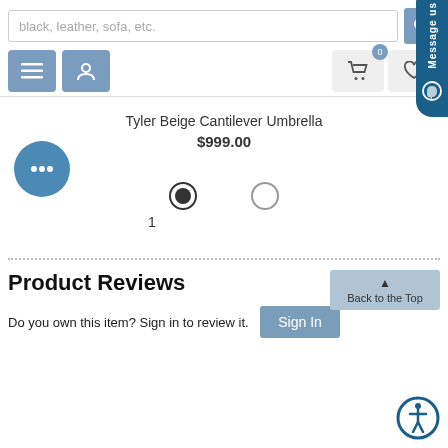[Figure (screenshot): Search bar with placeholder text 'black, leather, sofa, etc.' and a blue search button]
[Figure (screenshot): Navigation row with hamburger menu button, user account button, shopping cart button with badge 0, and wishlist/heart button with badge 0]
Tyler Beige Cantilever Umbrella
$999.00
[Figure (illustration): Teal circle with three dots (more options button)]
[Figure (other): Two radio buttons, first selected (filled), second unselected. Label '1' under first radio button.]
[Figure (other): Message us vertical button on the right side]
Product Reviews
Do you own this item? Sign in to review it.
[Figure (other): Sign In button]
[Figure (other): Back to the Top button with upward arrow]
[Figure (other): Accessibility icon - circle with person figure]